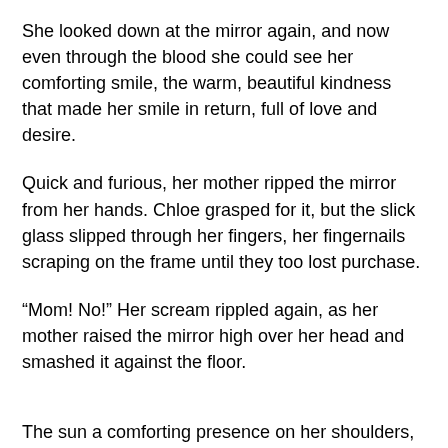She looked down at the mirror again, and now even through the blood she could see her comforting smile, the warm, beautiful kindness that made her smile in return, full of love and desire.
Quick and furious, her mother ripped the mirror from her hands. Chloe grasped for it, but the slick glass slipped through her fingers, her fingernails scraping on the frame until they too lost purchase.
“Mom! No!” Her scream rippled again, as her mother raised the mirror high over her head and smashed it against the floor.
The sun a comforting presence on her shoulders, Chloe warmed up at the tennis courts, hitting the ball against the